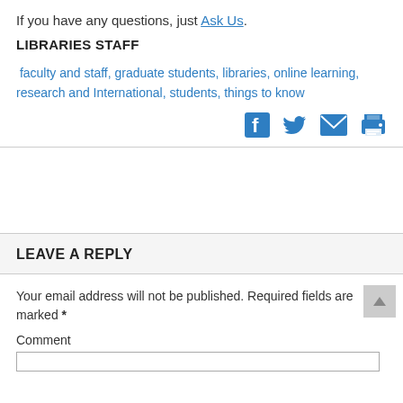If you have any questions, just Ask Us.
LIBRARIES STAFF
faculty and staff, graduate students, libraries, online learning, research and International, students, things to know
[Figure (other): Social sharing icons: Facebook, Twitter, Email, Print]
LEAVE A REPLY
Your email address will not be published. Required fields are marked *
Comment